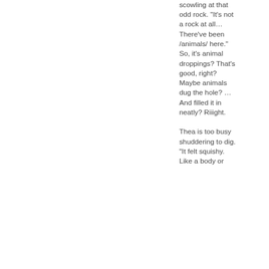scowling at that odd rock. "It's not a rock at all… There've been /animals/ here." So, it's animal droppings? That's good, right? Maybe animals dug the hole? … And filled it in neatly? Riiight.

Thea is too busy shuddering to dig. "It felt squishy. Like a body or